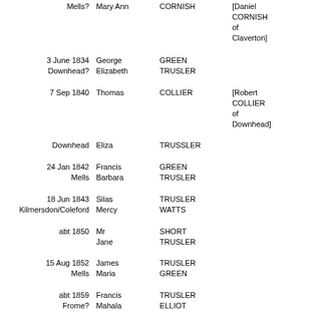| Date/Place | First Name | Surname | Notes |
| --- | --- | --- | --- |
| Mells? | Mary Ann | CORNISH | [Daniel CORNISH of Claverton] |
| 3 June 1834
Downhead? | George
Elizabeth | GREEN
TRUSLER |  |
| 7 Sep 1840 | Thomas | COLLIER | [Robert COLLIER of Downhead] |
| Downhead | Eliza | TRUSSLER |  |
| 24 Jan 1842
Mells | Francis
Barbara | GREEN
TRUSLER |  |
| 18 Jun 1843
Kilmersdon/Coleford | Silas
Mercy | TRUSLER
WATTS |  |
| abt 1850 | Mr
Jane | SHORT
TRUSLER |  |
| 15 Aug 1852
Mells | James
Maria | TRUSLER
GREEN |  |
| abt 1859
Frome? | Francis
Mahala | TRUSLER
ELLIOT |  |